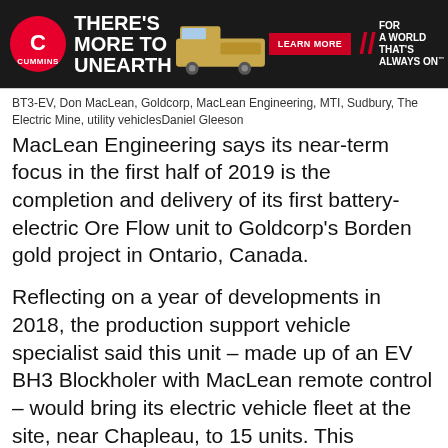[Figure (illustration): Cummins advertisement banner: black background with Cummins logo, headline 'THERE'S MORE TO UNEARTH', mining truck image, red 'LEARN MORE' button, and tagline 'FOR A WORLD THAT'S ALWAYS ON']
BT3-EV, Don MacLean, Goldcorp, MacLean Engineering, MTI, Sudbury, The Electric Mine, utility vehiclesDaniel Gleeson
MacLean Engineering says its near-term focus in the first half of 2019 is the completion and delivery of its first battery-electric Ore Flow unit to Goldcorp's Borden gold project in Ontario, Canada.
Reflecting on a year of developments in 2018, the production support vehicle specialist said this unit – made up of an EV BH3 Blockholer with MacLean remote control – would bring its electric vehicle fleet at the site, near Chapleau, to 15 units. This comprises six bolters and nine utility vehicles.
Borden, which currently has 950,000 oz of reserves, is scheduled to begin commercial production in the second half of 2019.